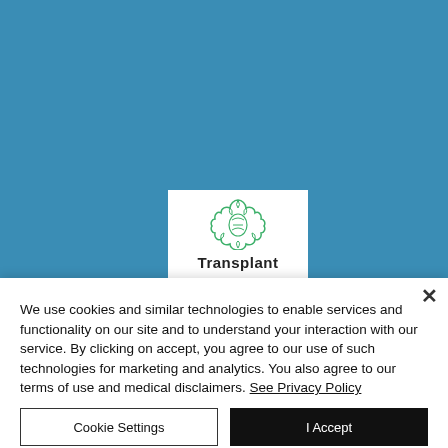[Figure (logo): Transplant journal logo: green stylized organ/crest illustration above the word Transplant in bold black text, on a white background, set against a blue background.]
We use cookies and similar technologies to enable services and functionality on our site and to understand your interaction with our service. By clicking on accept, you agree to our use of such technologies for marketing and analytics. You also agree to our terms of use and medical disclaimers. See Privacy Policy
Cookie Settings
I Accept